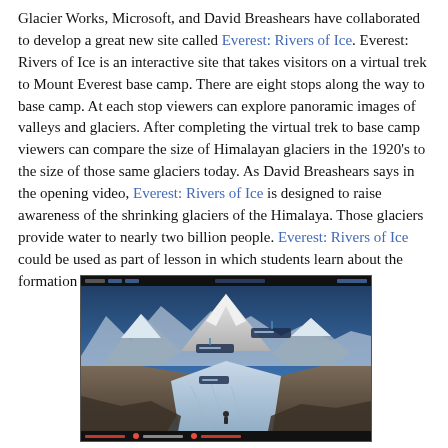Glacier Works, Microsoft, and David Breashears have collaborated to develop a great new site called Everest: Rivers of Ice. Everest: Rivers of Ice is an interactive site that takes visitors on a virtual trek to Mount Everest base camp. There are eight stops along the way to base camp. At each stop viewers can explore panoramic images of valleys and glaciers. After completing the virtual trek to base camp viewers can compare the size of Himalayan glaciers in the 1920's to the size of those same glaciers today. As David Breashears says in the opening video, Everest: Rivers of Ice is designed to raise awareness of the shrinking glaciers of the Himalaya. Those glaciers provide water to nearly two billion people. Everest: Rivers of Ice could be used as part of lesson in which students learn about the formation of glaciers and rivers.
[Figure (screenshot): Screenshot of the Everest: Rivers of Ice interactive website showing a panoramic view of Mount Everest and Himalayan glaciers with a dark interface toolbar at top and bottom.]